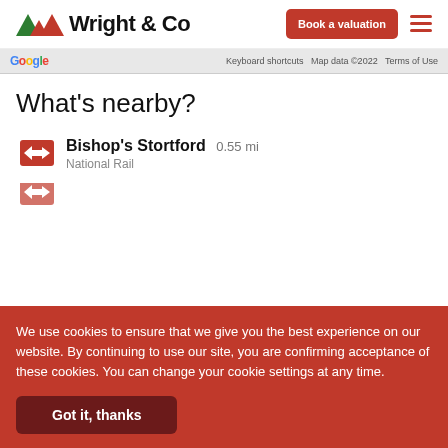Wright & Co — Book a valuation
[Figure (screenshot): Google Maps attribution bar showing Google logo, Keyboard shortcuts, Map data ©2022, Terms of Use]
What's nearby?
Bishop's Stortford 0.55 mi — National Rail
We use cookies to ensure that we give you the best experience on our website. By continuing to use our site, you are confirming acceptance of these cookies. You can change your cookie settings at any time.
Got it, thanks